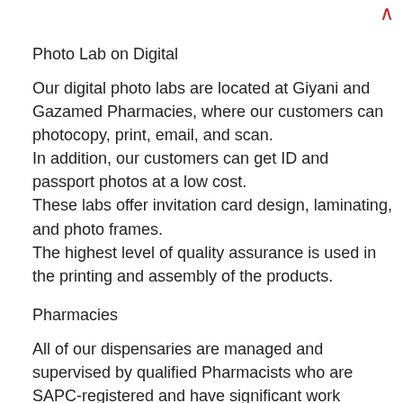Photo Lab on Digital
Our digital photo labs are located at Giyani and Gazamed Pharmacies, where our customers can photocopy, print, email, and scan.
In addition, our customers can get ID and passport photos at a low cost.
These labs offer invitation card design, laminating, and photo frames.
The highest level of quality assurance is used in the printing and assembly of the products.
Pharmacies
All of our dispensaries are managed and supervised by qualified Pharmacists who are SAPC-registered and have significant work experience...